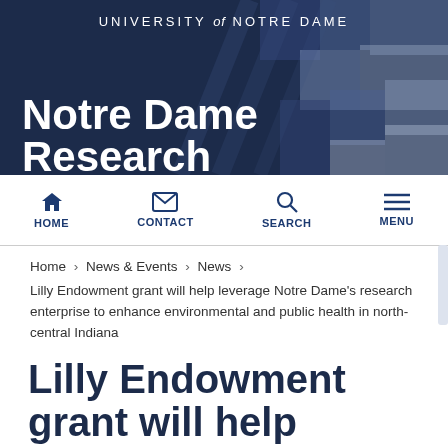UNIVERSITY of NOTRE DAME
Notre Dame Research
HOME  CONTACT  SEARCH  MENU
Home › News & Events › News › Lilly Endowment grant will help leverage Notre Dame's research enterprise to enhance environmental and public health in north-central Indiana
Lilly Endowment grant will help leverage Notre Dame's